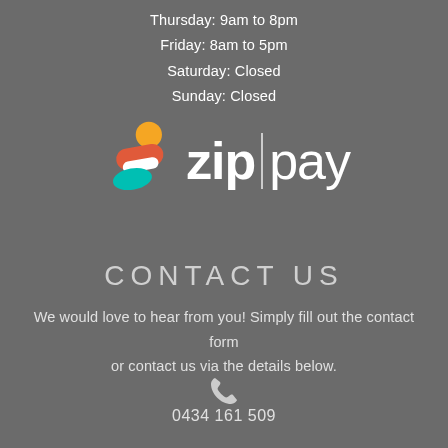Thursday: 9am to 8pm
Friday: 8am to 5pm
Saturday: Closed
Sunday: Closed
[Figure (logo): Zip Pay logo with colourful icon (orange, red, white, teal) and white 'zip|pay' wordmark]
CONTACT US
We would love to hear from you! Simply fill out the contact form or contact us via the details below.
[Figure (illustration): White phone/telephone icon]
0434 161 509